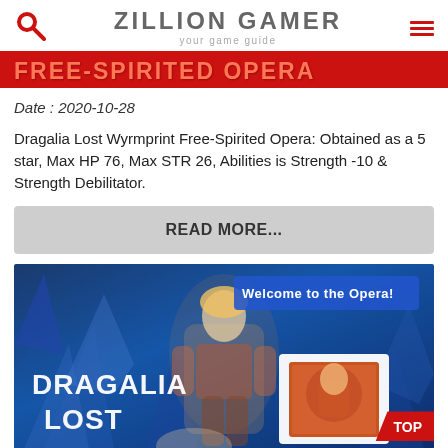ZILLION GAMER
your game guide
FREE-SPIRITED OPERA
Date : 2020-10-28
Dragalia Lost Wyrmprint Free-Spirited Opera: Obtained as a 5 star, Max HP 76, Max STR 26, Abilities is Strength -10 & Strength Debilitator.
READ MORE...
[Figure (screenshot): Dragalia Lost game screenshot showing character artwork with 'DRAGALIA LOST' logo text, a character in medieval fantasy armor, blue crystalline background, 'Welcome to the Opera!' text banner, and a small item card thumbnail in lower right with a red TOP button badge.]